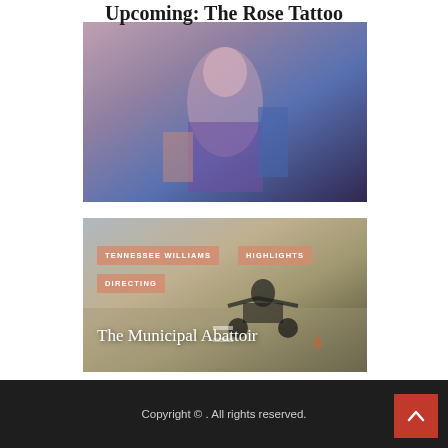Upcoming: The Rose Tattoo
[Figure (photo): Photo related to The Rose Tattoo production, showing a performer in colorful costume]
[Figure (photo): Photo showing a person on a motorcycle on a desert road, with tags TENNESSEE WILLIAMS, HIGHLIGHTS, DIRECTING and title The Municipal Abattoir]
TENNESSEE WILLIAMS
HIGHLIGHTS
DIRECTING
The Municipal Abattoir
Copyright © . All rights reserved.